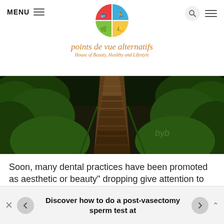[Figure (logo): Circular logo divided into four colored quadrants (red, blue, green, yellow) with food/lifestyle icons]
points de vue alternatifs
House of Beauty, Healthy and Lifestyle
[Figure (photo): Panoramic outdoor photo of a path or walkway through dense green foliage and vegetation, dark and moody lighting]
Soon, many dental practices have been promoted as aesthetic or beauty” dropping give attention to the final” dental providers they provided. Supplemental (Medicare) insurance can include both non-Medicare of
Discover how to do a post-vasectomy sperm test at